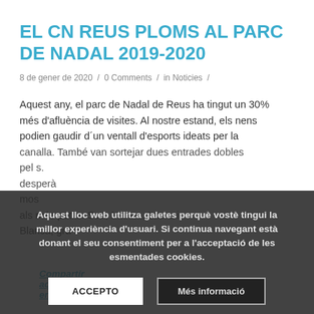EL CN REUS PLOMS AL PARC DE NADAL 2019-2020
8 de gener de 2020 / 0 Comments / in Noticies /
Aquest any, el parc de Nadal de Reus ha tingut un 30% més d'afluència de visites. Al nostre estand, els nens podien gaudir d'un ventall d'esports ideats per la canalla. També van sortejar dues entrades dobles pel... als més petits. Sou..., Manna, Laura i Blanca, grà...
Aquest lloc web utilitza galetes perquè vostè tingui la millor experiència d'usuari. Si continua navegant està donant el seu consentiment per a l'acceptació de les esmentades cookies.
Compartir aquesta entrada